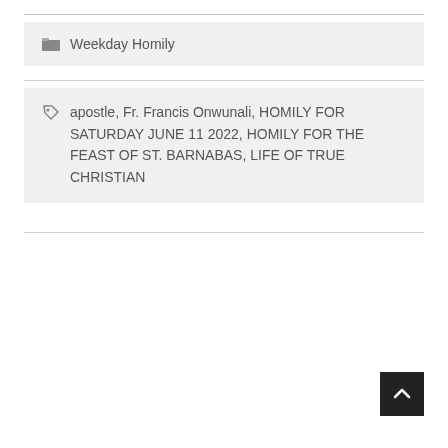Weekday Homily
apostle, Fr. Francis Onwunali, HOMILY FOR SATURDAY JUNE 11 2022, HOMILY FOR THE FEAST OF ST. BARNABAS, LIFE OF TRUE CHRISTIAN